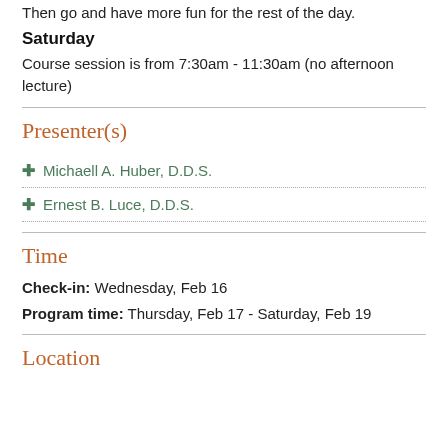Then go and have more fun for the rest of the day.
Saturday
Course session is from 7:30am - 11:30am (no afternoon lecture)
Presenter(s)
✦ Michaell A. Huber, D.D.S.
✦ Ernest B. Luce, D.D.S.
Time
Check-in: Wednesday, Feb 16
Program time: Thursday, Feb 17 - Saturday, Feb 19
Location